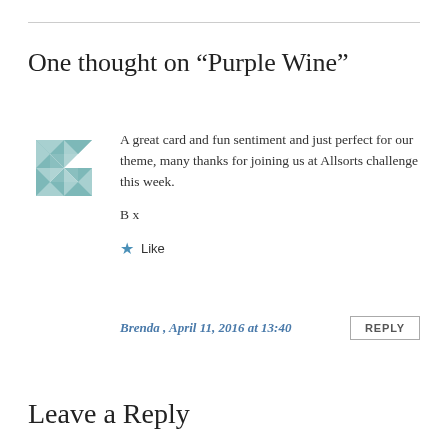One thought on “Purple Wine”
[Figure (illustration): Decorative avatar icon: a teal/muted blue-green geometric star/pinwheel shape made of triangular segments]
A great card and fun sentiment and just perfect for our theme, many thanks for joining us at Allsorts challenge this week.

B x
★ Like
Brenda , April 11, 2016 at 13:40
REPLY
Leave a Reply